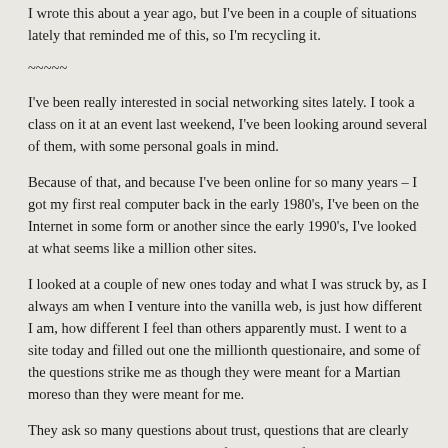I wrote this about a year ago, but I've been in a couple of situations lately that reminded me of this, so I'm recycling it.
~~~~~
I've been really interested in social networking sites lately. I took a class on it at an event last weekend, I've been looking around several of them, with some personal goals in mind.
Because of that, and because I've been online for so many years – I got my first real computer back in the early 1980's, I've been on the Internet in some form or another since the early 1990's, I've looked at what seems like a million other sites.
I looked at a couple of new ones today and what I was struck by, as I always am when I venture into the vanilla web, is just how different I am, how different I feel than others apparently must. I went to a site today and filled out one the millionth questionaire, and some of the questions strike me as though they were meant for a Martian moreso than they were meant for me.
They ask so many questions about trust, questions that are clearly based on NOT trusting your significant other. If your partner has to go out of town and spends the night at the house of a friend you know he finds attractive, do you worry? No, because I trust him. If I didn't, he wouldn't be my partner.